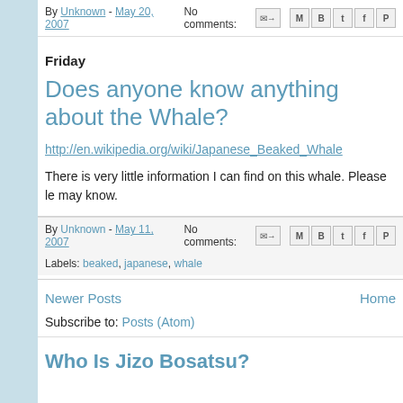By Unknown - May 20, 2007   No comments:
Friday
Does anyone know anything about the Whale?
http://en.wikipedia.org/wiki/Japanese_Beaked_Whale
There is very little information I can find on this whale. Please le may know.
By Unknown - May 11, 2007   No comments:  Labels: beaked, japanese, whale
Newer Posts   Home
Subscribe to: Posts (Atom)
Who Is Jizo Bosatsu?